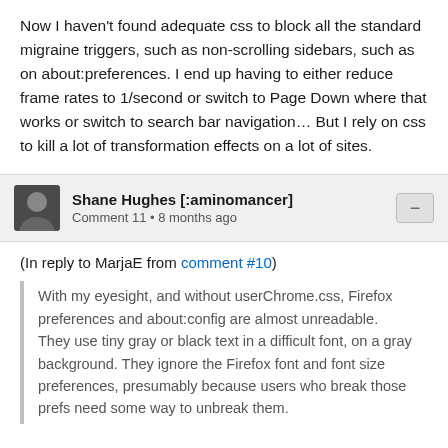Now I haven't found adequate css to block all the standard migraine triggers, such as non-scrolling sidebars, such as on about:preferences. I end up having to either reduce frame rates to 1/second or switch to Page Down where that works or switch to search bar navigation… But I rely on css to kill a lot of transformation effects on a lot of sites.
Shane Hughes [:aminomancer]
Comment 11 • 8 months ago
(In reply to MarjaE from comment #10)
With my eyesight, and without userChrome.css, Firefox preferences and about:config are almost unreadable. They use tiny gray or black text in a difficult font, on a gray background. They ignore the Firefox font and font size preferences, presumably because users who break those prefs need some way to unbreak them.
What version of Firefox and what theme are you using? With the default theme, the background on about:preferences and